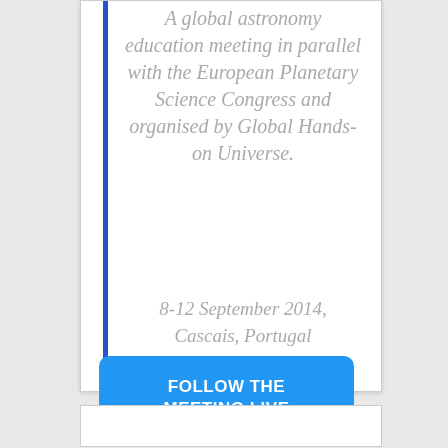A global astronomy education meeting in parallel with the European Planetary Science Congress and organised by Global Hands-on Universe.
8-12 September 2014, Cascais, Portugal
FOLLOW THE MEETING LIVE